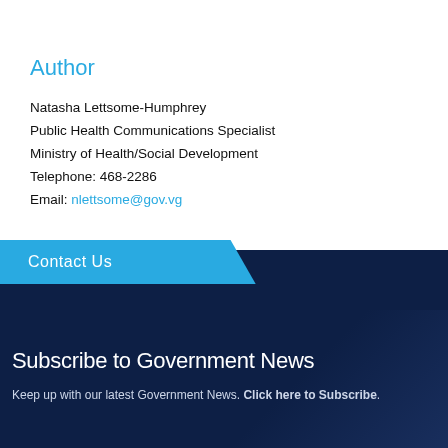Author
Natasha Lettsome-Humphrey
Public Health Communications Specialist
Ministry of Health/Social Development
Telephone: 468-2286
Email: nlettsome@gov.vg
Contact Us
Subscribe to Government News
Keep up with our latest Government News. Click here to Subscribe.